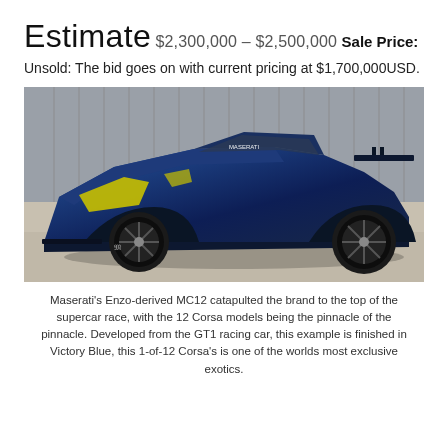Estimate
$2,300,000 – $2,500,000
Sale Price:
Unsold: The bid goes on with current pricing at $1,700,000USD.
[Figure (photo): A blue Maserati MC12 Corsa racing car photographed in a parking area with a corrugated metal wall behind it. The car is finished in Victory Blue with yellow headlight covers and a large rear wing.]
Maserati's Enzo-derived MC12 catapulted the brand to the top of the supercar race, with the 12 Corsa models being the pinnacle of the pinnacle. Developed from the GT1 racing car, this example is finished in Victory Blue, this 1-of-12 Corsa's is one of the worlds most exclusive exotics.